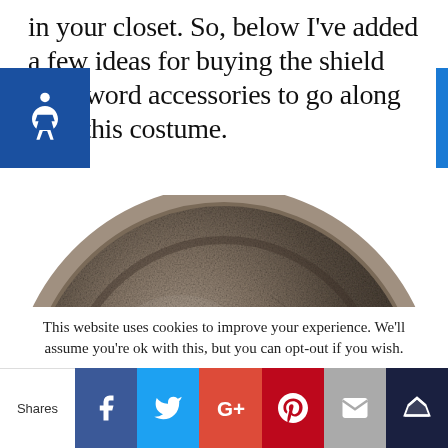in your closet. So, below I've added a few ideas for buying the shield and sword accessories to go along with this costume.
[Figure (photo): A round metallic shield with an embossed face design at the center, viewed from the front, with a worn antiqued silver finish.]
This website uses cookies to improve your experience. We'll assume you're ok with this, but you can opt-out if you wish.
Shares | Facebook | Twitter | Google+ | Pinterest | Email | Crown